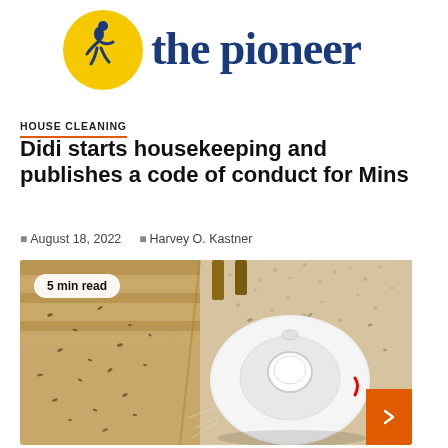the pioneer
HOUSE CLEANING
Didi starts housekeeping and publishes a code of conduct for Mins
August 18, 2022  Harvey O. Kastner
[Figure (photo): A white robotic vacuum cleaner on a floor with scattered dirt/debris near a carpet edge, with a '5 min read' badge overlay and an orange arrow button in the bottom right corner.]